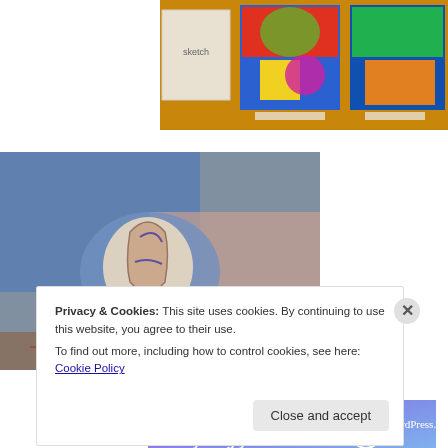[Figure (photo): Art gallery wall with colorful paintings displayed on a yellow/orange wall]
[Figure (photo): Close-up artwork showing a blue-toned drawing of a figure/creature on paper]
[Figure (other): WordPress.com advertisement banner: 'Simplified pricing for everything you need.']
REPORT THIS AD
Privacy & Cookies: This site uses cookies. By continuing to use this website, you agree to their use.
To find out more, including how to control cookies, see here: Cookie Policy
Close and accept